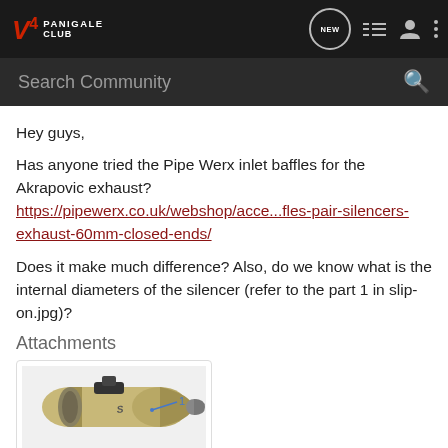V4 PANIGALE CLUB [navigation bar with NEW, list, user, more icons]
Search Community
Hey guys,
Has anyone tried the Pipe Werx inlet baffles for the Akrapovic exhaust? https://pipewerx.co.uk/webshop/acce...fles-pair-silencers-exhaust-60mm-closed-ends/
Does it make much difference? Also, do we know what is the internal diameters of the silencer (refer to the part 1 in slip-on.jpg)?
Attachments
[Figure (photo): Photo of an Akrapovic slip-on exhaust silencer with a label arrow pointing to part 1]
slip-on.png